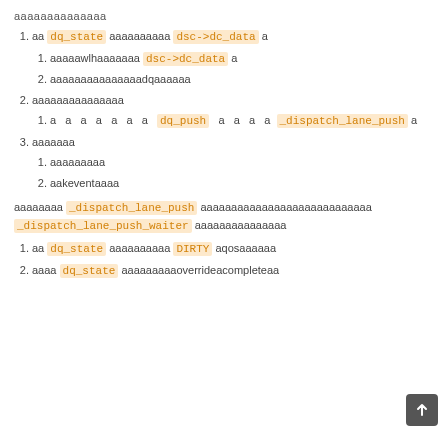aaaaaaaaaaaaaa
aa dq_state aaaaaaaaaa dsc->dc_data a
aaaaawlhaaaaaaa dsc->dc_data a
aaaaaaaaaaaaaaadqaaaaaa
aaaaaaaaaaaaaaa
a a a a a a a dq_push a a a a a _dispatch_lane_push a
aaaaaaa
aaaaaaaaa
aakeventaaaa
aaaaaaaa _dispatch_lane_push aaaaaaaaaaaaaaaaaaaaaaaaaaaa _dispatch_lane_push_waiter aaaaaaaaaaaaaaa
aa dq_state aaaaaaaaaa DIRTY aqosaaaaaa
aaaa dq_state aaaaaaaaaoverrideacompleteaa